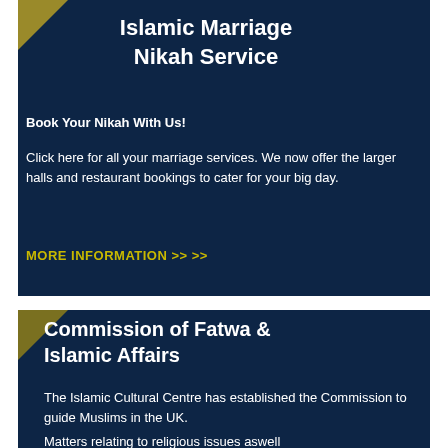Islamic Marriage Nikah Service
Book Your Nikah With Us!
Click here for all your marriage services. We now offer the larger halls and restaurant bookings to cater for your big day.
MORE INFORMATION >> >>
Commission of Fatwa & Islamic Affairs
The Islamic Cultural Centre has established the Commission to guide Muslims in the UK.
Matters relating to religious issues aswell